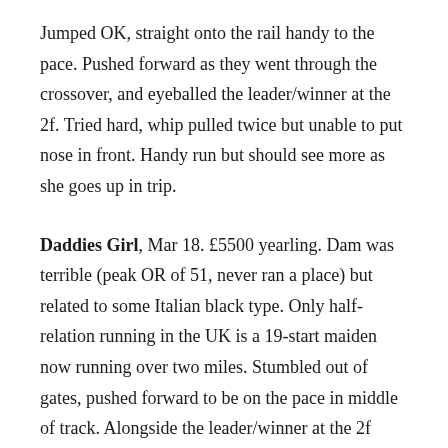Jumped OK, straight onto the rail handy to the pace. Pushed forward as they went through the crossover, and eyeballed the leader/winner at the 2f. Tried hard, whip pulled twice but unable to put nose in front. Handy run but should see more as she goes up in trip.
Daddies Girl, Mar 18. £5500 yearling. Dam was terrible (peak OR of 51, never ran a place) but related to some Italian black type. Only half-relation running in the UK is a 19-start maiden now running over two miles. Stumbled out of gates, pushed forward to be on the pace in middle of track. Alongside the leader/winner at the 2f pole, unable to go with them but stuck on nicely, whip just used once.
Declarationoflove, Mar 23. £28k yearling, first foal from handy sprinting mare (peak rating of 95), and by first-crop